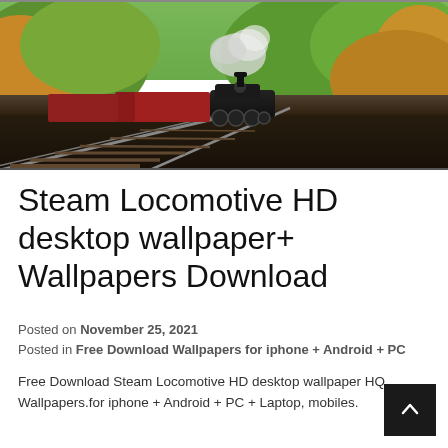[Figure (photo): A black steam locomotive pulling red/brown freight cars along a railway track through lush green and autumn-colored trees, with steam rising, photographed from a low angle perspective.]
Steam Locomotive HD desktop wallpaper+ Wallpapers Download
Posted on November 25, 2021
Posted in Free Download Wallpapers for iphone + Android + PC
Free Download Steam Locomotive HD desktop wallpaper HQ Wallpapers.for iphone + Android + PC + Laptop, mobiles.